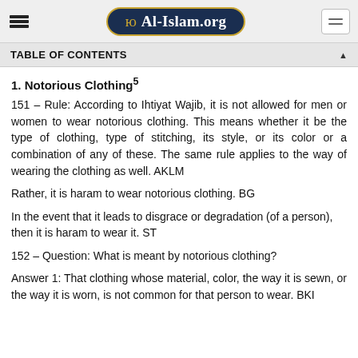Al-Islam.org
TABLE OF CONTENTS
1. Notorious Clothing⁵
151 – Rule: According to Ihtiyat Wajib, it is not allowed for men or women to wear notorious clothing. This means whether it be the type of clothing, type of stitching, its style, or its color or a combination of any of these. The same rule applies to the way of wearing the clothing as well. AKLM
Rather, it is haram to wear notorious clothing. BG
In the event that it leads to disgrace or degradation (of a person), then it is haram to wear it. ST
152 – Question: What is meant by notorious clothing?
Answer 1: That clothing whose material, color, the way it is sewn, or the way it is worn, is not common for that person to wear. BKI